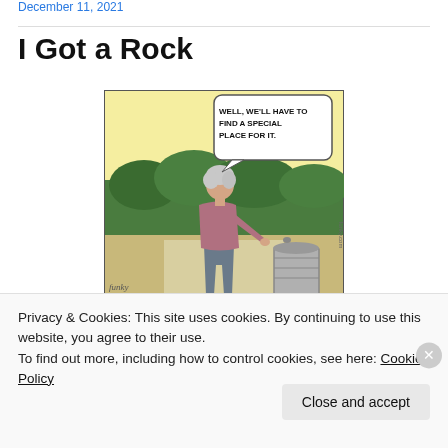December 11, 2021
I Got a Rock
[Figure (illustration): Comic strip showing an older woman with gray hair, viewed from behind, wearing a purple top and gray pants, reaching toward a trash can. A speech bubble reads: WELL, WE'LL HAVE TO FIND A SPECIAL PLACE FOR IT. Background shows yellow sky and green bushes. Signed 'Funky' with 'funky.com' on the right side.]
Privacy & Cookies: This site uses cookies. By continuing to use this website, you agree to their use.
To find out more, including how to control cookies, see here: Cookie Policy